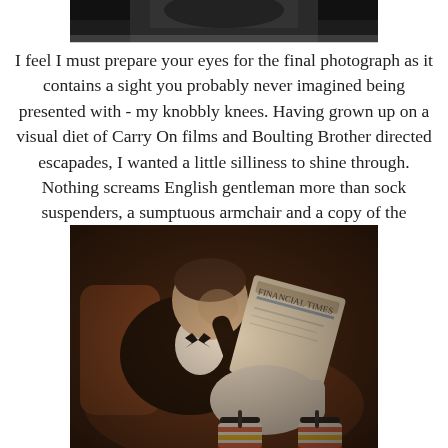[Figure (photo): Top partial photograph showing a dark figure, cropped at bottom edge, black and white or dark toned.]
I feel I must prepare your eyes for the final photograph as it contains a sight you probably never imagined being presented with - my knobbly knees. Having grown up on a visual diet of Carry On films and Boulting Brother directed escapades, I wanted a little silliness to shine through. Nothing screams English gentleman more than sock suspenders, a sumptuous armchair and a copy of the Financial Times.
[Figure (photo): A man in a dark jacket and bow tie reclines in a leather armchair, legs up, wearing white shorts with sock suspenders and striped socks, reading the Financial Times newspaper. Warm, dramatic lighting with dark brown background.]